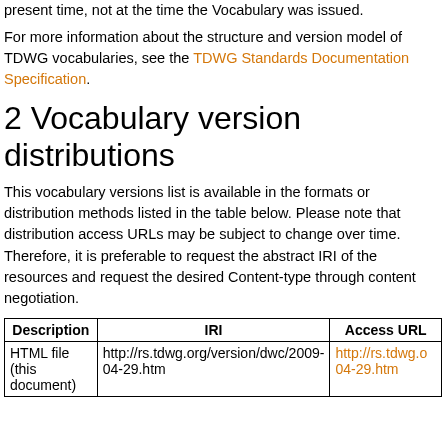present time, not at the time the Vocabulary was issued.
For more information about the structure and version model of TDWG vocabularies, see the TDWG Standards Documentation Specification.
2 Vocabulary version distributions
This vocabulary versions list is available in the formats or distribution methods listed in the table below. Please note that distribution access URLs may be subject to change over time. Therefore, it is preferable to request the abstract IRI of the resources and request the desired Content-type through content negotiation.
| Description | IRI | Access URL |
| --- | --- | --- |
| HTML file (this document) | http://rs.tdwg.org/version/dwc/2009-04-29.htm | http://rs.tdwg.c 04-29.htm |